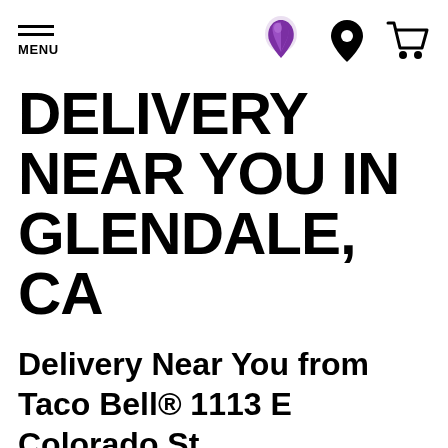MENU
DELIVERY NEAR YOU IN GLENDALE, CA
Delivery Near You from Taco Bell® 1113 E Colorado St
Good news - Delivery near you is now available from